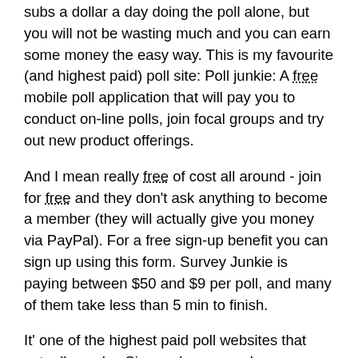subs a dollar a day doing the poll alone, but you will not be wasting much and you can earn some money the easy way. This is my favourite (and highest paid) poll site: Poll junkie: A free mobile poll application that will pay you to conduct on-line polls, join focal groups and try out new product offerings.
And I mean really free of cost all around - join for free and they don't ask anything to become a member (they will actually give you money via PayPal). For a free sign-up benefit you can sign up using this form. Survey Junkie is paying between $50 and $9 per poll, and many of them take less than 5 min to finish.
It' one of the highest paid poll websites that actually works. Sign up bonuses when you go through this hyperlink. Grab $600 fast with a top reward page. Swagbucks is another great poll site to quickly earn money in your spare tire. You can earn up to $35 per poll as a new member!
They' re known for giving funny, well-paid polls. You can also get rewarded for playing matches and watching TV! It' similar to Survey Junkie, but there are also a few other ways you can earn money as a member (including a $5 bonuses just for registering). Register for the $5.00 bonuses via this hyperlink.